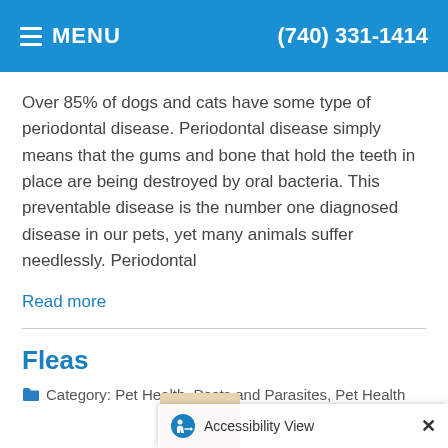MENU  (740) 331-1414
Over 85% of dogs and cats have some type of periodontal disease. Periodontal disease simply means that the gums and bone that hold the teeth in place are being destroyed by oral bacteria. This preventable disease is the number one diagnosed disease in our pets, yet many animals suffer needlessly. Periodontal
Read more
Fleas
Category: Pet Health, Pests and Parasites, Pet Health
[Figure (photo): Partial photo of a pet, bottom of page]
Accessibility View  ×